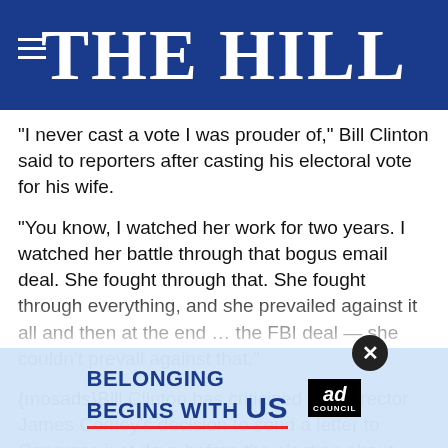THE HILL
“I never cast a vote I was prouder of,” Bill Clinton said to reporters after casting his electoral vote for his wife.
“You know, I watched her work for two years. I watched her battle through that bogus email deal. She fought through that. She fought through everything, and she prevailed against it all and then at the end … the FBI deal — she couldn’t prevail against that.”
{mosads}Bill Clinton has criticized FBI Director James Comey’s decision to send a letter to Congress just days before the election about possible new evidence found on a staffer’s email server. After a review of newly discovered
[Figure (other): Advertisement banner: 'BELONGING BEGINS WITH US' with Ad Council logo, overlaid on the article content with a close (X) button]